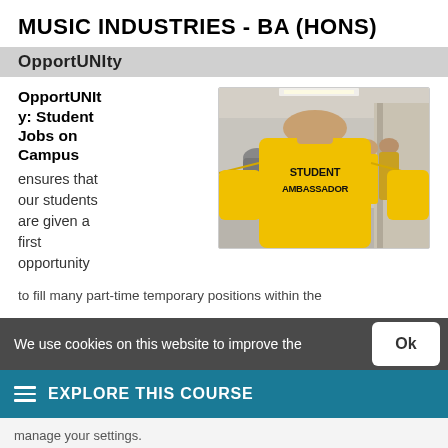MUSIC INDUSTRIES - BA (HONS)
OpportUNIty
OpportUNIty: Student Jobs on Campus ensures that our students are given a first opportunity to fill many part-time temporary positions within the
[Figure (photo): Person wearing yellow Student Ambassador polo shirt, with other people in yellow shirts in the background in an indoor venue]
We use cookies on this website to improve the
EXPLORE THIS COURSE
manage your settings.